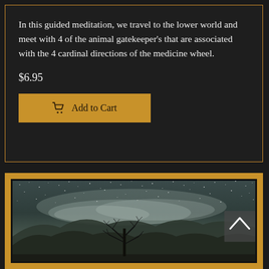In this guided meditation, we travel to the lower world and meet with 4 of the animal gatekeeper's that are associated with the 4 cardinal directions of the medicine wheel.
$6.95
Add to Cart
[Figure (photo): A dark, moody photograph of a bare tree silhouetted against a starry night sky with wispy clouds and mountains in the background, framed with a golden-tan border and dark inner border. A navigation arrow (chevron up) is visible on the right side.]